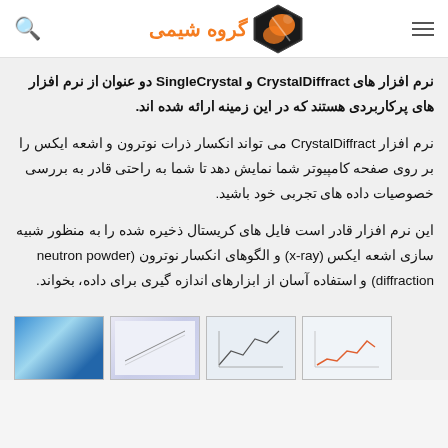گروه شیمی
نرم افزار های CrystalDiffract و SingleCrystal دو عنوان از نرم افزار های پرکاربردی هستند که در این زمینه ارائه شده اند.
نرم افزار CrystalDiffract می تواند انکسار ذرات نوترون و اشعه ایکس را بر روی صفحه کامپیوتر شما نمایش دهد تا شما به راحتی قادر به بررسی خصوصیات داده های تجربی خود باشید.
این نرم افزار قادر است فایل های کریستال ذخیره شده را به منظور شبیه سازی اشعه ایکس (x-ray) و الگوهای انکسار نوترون (neutron powder diffraction) و استفاده آسان از ابزارهای اندازه گیری برای داده، بخواند.
[Figure (screenshot): Screenshots of CrystalDiffract and related software interfaces shown in a row at the bottom of the page]